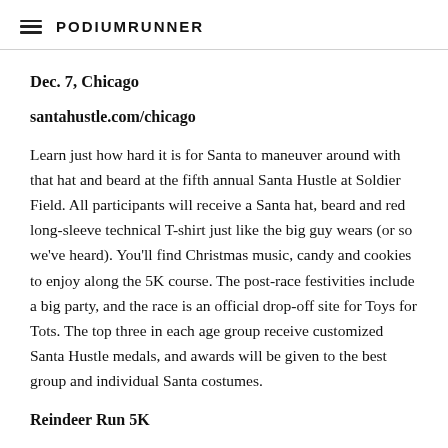PodiumRunner
Dec. 7, Chicago
santahustle.com/chicago
Learn just how hard it is for Santa to maneuver around with that hat and beard at the fifth annual Santa Hustle at Soldier Field. All participants will receive a Santa hat, beard and red long-sleeve technical T-shirt just like the big guy wears (or so we've heard). You'll find Christmas music, candy and cookies to enjoy along the 5K course. The post-race festivities include a big party, and the race is an official drop-off site for Toys for Tots. The top three in each age group receive customized Santa Hustle medals, and awards will be given to the best group and individual Santa costumes.
Reindeer Run 5K